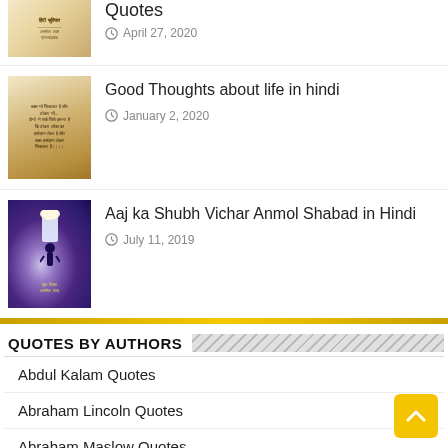[Figure (photo): Thumbnail image with Hindi text on paper background (partially cropped at top)]
Quotes
April 27, 2020
[Figure (photo): Thumbnail image with Hindi text on light brown background]
Good Thoughts about life in hindi
January 2, 2020
[Figure (photo): Thumbnail image with silhouette of person at glowing doorway on stairs, purple/blue background, with Hindi text]
Aaj ka Shubh Vichar Anmol Shabad in Hindi
July 11, 2019
QUOTES BY AUTHORS
Abdul Kalam Quotes
Abraham Lincoln Quotes
Abraham Maslow Quotes
Adolf Hitler Quotes
Aesop Quotes
Akbar and Birbal Quotes